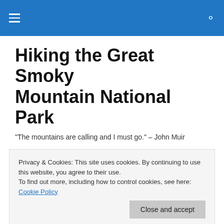Navigation menu and search icon
Hiking the Great Smoky Mountain National Park
"The mountains are calling and I must go." – John Muir
TAGGED WITH CAMPSITE #14
Hannah Mountain Trail
Privacy & Cookies: This site uses cookies. By continuing to use this website, you agree to their use.
To find out more, including how to control cookies, see here: Cookie Policy
Close and accept